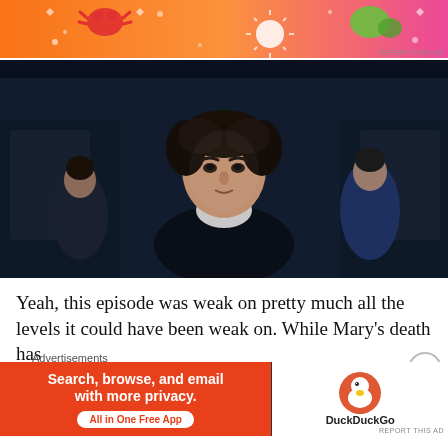[Figure (photo): Top banner advertisement with orange/pink gradient background and colorful cartoon doodle decorations including a crab, sun, and other festive icons]
[Figure (photo): Screenshot from a TV show (Sherlock) showing a man with dark curly hair in a dark suit standing in what appears to be an airplane or train interior, with two other figures visible in the background]
Yeah, this episode was weak on pretty much all the levels it could have been weak on. While Mary's death has
Advertisements
[Figure (photo): DuckDuckGo advertisement banner: orange left side reading 'Search, browse, and email with more privacy. All in One Free App' and white right side with DuckDuckGo duck logo]